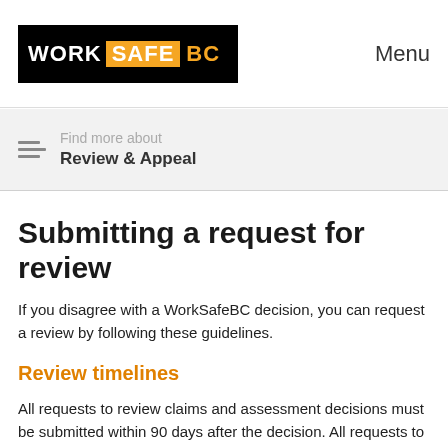WorkSafeBC — Menu
Find more about
Review & Appeal
Submitting a request for review
If you disagree with a WorkSafeBC decision, you can request a review by following these guidelines.
Review timelines
All requests to review claims and assessment decisions must be submitted within 90 days after the decision. All requests to review health and safety enforcement decisions must be submitted within 45 days after the decision.